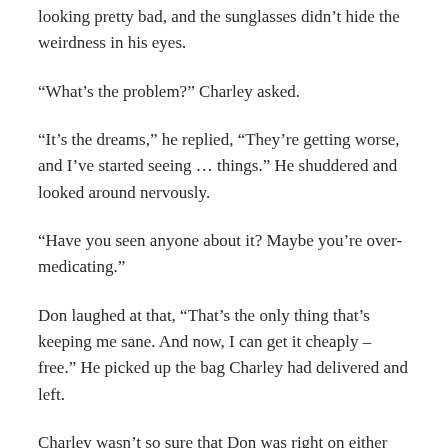looking pretty bad, and the sunglasses didn't hide the weirdness in his eyes.
“What’s the problem?” Charley asked.
“It’s the dreams,” he replied, “They’re getting worse, and I’ve started seeing … things.” He shuddered and looked around nervously.
“Have you seen anyone about it? Maybe you’re over-medicating.”
Don laughed at that, “That’s the only thing that’s keeping me sane. And now, I can get it cheaply – free.” He picked up the bag Charley had delivered and left.
Charley wasn’t so sure that Don was right on either count.